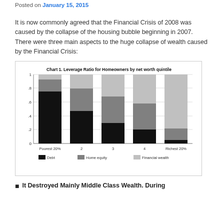Posted on January 15, 2015
It is now commonly agreed that the Financial Crisis of 2008 was caused by the collapse of the housing bubble beginning in 2007. There were three main aspects to the huge collapse of wealth caused by the Financial Crisis:
[Figure (stacked-bar-chart): Chart 1. Leverage Ratio for Homeowners by net worth quintile]
It Destroyed Mainly Middle Class Wealth. During